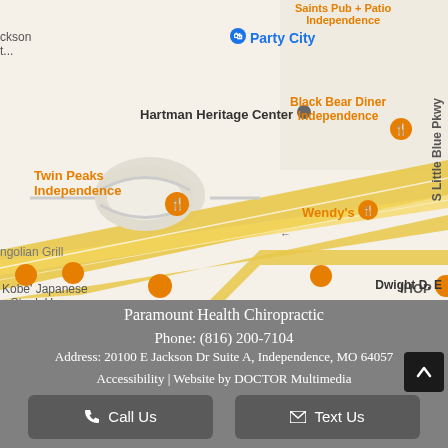[Figure (map): Google Maps screenshot showing area around Paramount Health Chiropractic in Independence, MO. Shows landmarks: Party City, Hartman Heritage Center, Black Bear Diner Independence, Wendy's, Twin Peaks Independence, Mongolian Grill, Kobe' Japanese Steak House, IHOP. Roads include S Little Blue Pkwy and Dwight D. (Eisenhower). Orange restaurant pins and a blue shopping pin are visible.]
Paramount Health Chiropractic
Phone: (816) 200-7104
Address: 20100 E Jackson Dr Suite A, Independence, MO 64057
Accessibility | Website by DOCTOR Multimedia